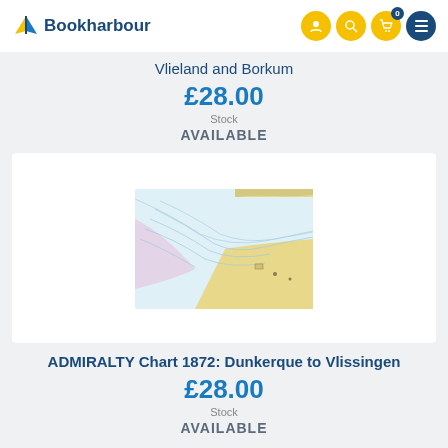Bookharbour
Vlieland and Borkum
£28.00
Stock
AVAILABLE
[Figure (map): Nautical chart image showing coastal waterways with blue sea and yellow land, with depth contour lines]
ADMIRALTY Chart 1872: Dunkerque to Vlissingen
£28.00
Stock
AVAILABLE